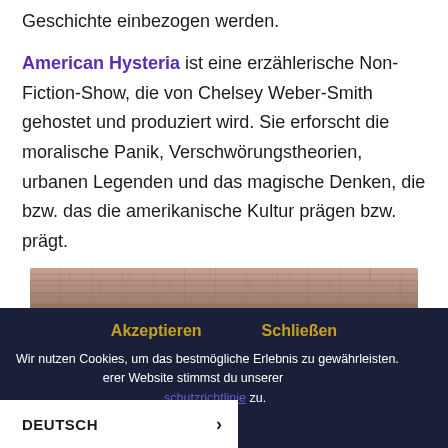Geschichte einbezogen werden.
American Hysteria ist eine erzählerische Non-Fiction-Show, die von Chelsey Weber-Smith gehostet und produziert wird. Sie erforscht die moralische Panik, Verschwörungstheorien, urbanen Legenden und das magische Denken, die bzw. das die amerikanische Kultur prägen bzw. prägt.
[Figure (photo): Partial photo of a person's head against a pink/rose brick wall background, partially obscured by a dark overlay at the bottom.]
Akzeptieren    Schließen
Wir nutzen Cookies, um das bestmögliche Erlebnis zu gewährleisten. Durch die Nutzung unserer Website stimmst du unserer Datenschutzrichtlinie zu.
DEUTSCH  >